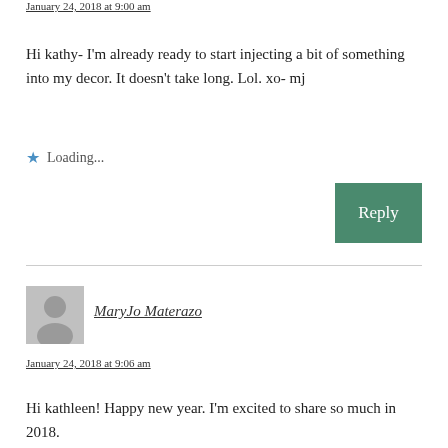January 24, 2018 at 9:00 am
Hi kathy- I'm already ready to start injecting a bit of something into my decor. It doesn't take long. Lol. xo- mj
Loading...
Reply
[Figure (other): Avatar placeholder icon, grey silhouette]
MaryJo Materazo
January 24, 2018 at 9:06 am
Hi kathleen! Happy new year. I'm excited to share so much in 2018.